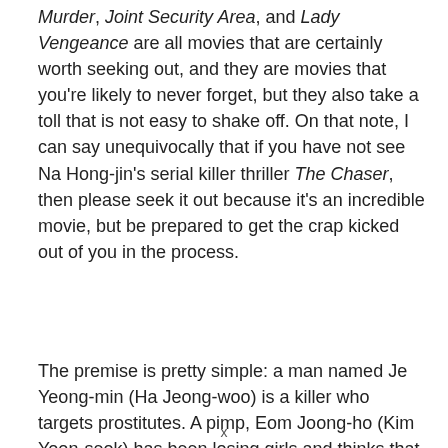Murder, Joint Security Area, and Lady Vengeance are all movies that are certainly worth seeking out, and they are movies that you're likely to never forget, but they also take a toll that is not easy to shake off. On that note, I can say unequivocally that if you have not see Na Hong-jin's serial killer thriller The Chaser, then please seek it out because it's an incredible movie, but be prepared to get the crap kicked out of you in the process.
The premise is pretty simple: a man named Je Yeong-min (Ha Jeong-woo) is a killer who targets prostitutes. A pimp, Eom Joong-ho (Kim Yoon-seok) has been losing girls and thinks that Je Yeong-min might be responsible for kidnapping and selling them, unknowingly already sending another girl to meet up with him at the film's onset. What follows is an absolutely incredible clinic in suspense. Director Na Hong-jin stages his movie with expert precision, and knows exactly when to frustrate his audience and when to bring down the hammer on you, so to speak. Both of the main performances here are top notch, with Ha Jeong-woo playing
x